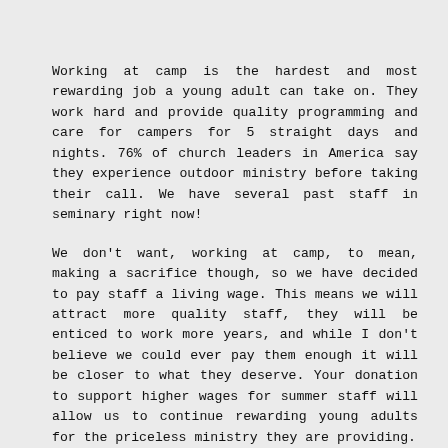Working at camp is the hardest and most rewarding job a young adult can take on. They work hard and provide quality programming and care for campers for 5 straight days and nights. 76% of church leaders in America say they experience outdoor ministry before taking their call. We have several past staff in seminary right now!
We don't want, working at camp, to mean, making a sacrifice though, so we have decided to pay staff a living wage. This means we will attract more quality staff, they will be enticed to work more years, and while I don't believe we could ever pay them enough it will be closer to what they deserve. Your donation to support higher wages for summer staff will allow us to continue rewarding young adults for the priceless ministry they are providing.